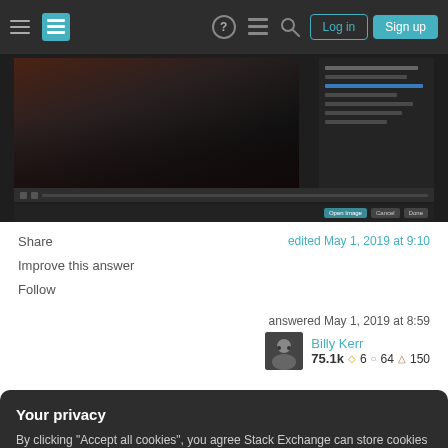Stack Exchange navigation bar with Log in and Sign up buttons
[Figure (screenshot): Screenshot of a photo editing application showing an image of two people sitting on the floor, with an adjustment panel on the right side, a toolbar at the bottom, and a status bar with Open Image, Cancel, and Done buttons.]
Share
edited May 1, 2019 at 9:10
Improve this answer
Follow
answered May 1, 2019 at 8:59
Billy Kerr 75.1k 6 64 150
Your privacy
By clicking "Accept all cookies", you agree Stack Exchange can store cookies on your device and disclose information in accordance with our Cookie Policy.
Accept all cookies
Customize settings
image, like so: 1, drag in the sample as a layer,